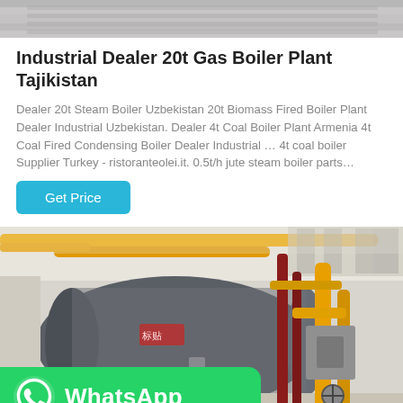[Figure (photo): Partial view of industrial equipment or boiler system at the top of the page]
Industrial Dealer 20t Gas Boiler Plant Tajikistan
Dealer 20t Steam Boiler Uzbekistan 20t Biomass Fired Boiler Plant Dealer Industrial Uzbekistan. Dealer 4t Coal Boiler Plant Armenia 4t Coal Fired Condensing Boiler Dealer Industrial … 4t coal boiler Supplier Turkey - ristoranteolei.it. 0.5t/h jute steam boiler parts…
[Figure (other): Get Price button – cyan/teal rectangular button]
[Figure (photo): Industrial boiler plant interior showing a large cylindrical grey boiler with yellow piping and red vertical pipes. WhatsApp button overlay at the bottom left.]